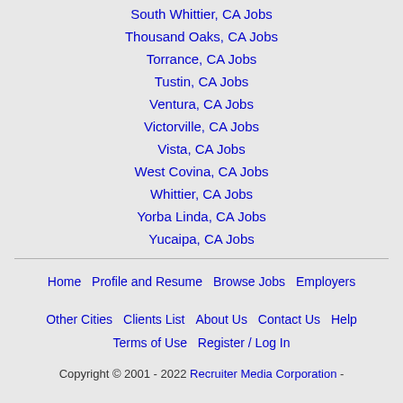South Whittier, CA Jobs
Thousand Oaks, CA Jobs
Torrance, CA Jobs
Tustin, CA Jobs
Ventura, CA Jobs
Victorville, CA Jobs
Vista, CA Jobs
West Covina, CA Jobs
Whittier, CA Jobs
Yorba Linda, CA Jobs
Yucaipa, CA Jobs
Home   Profile and Resume   Browse Jobs   Employers   Other Cities   Clients List   About Us   Contact Us   Help   Terms of Use   Register / Log In
Copyright © 2001 - 2022 Recruiter Media Corporation -